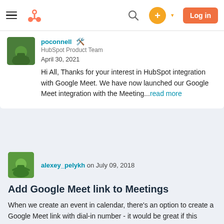HubSpot navigation bar with logo, search, plus button, and Log in button
poconnell HubSpot Product Team
April 30, 2021
Hi All, Thanks for your interest in HubSpot integration with Google Meet. We have now launched our Google Meet integration with the Meeting...read more
alexey_pelykh on July 09, 2018
Add Google Meet link to Meetings
When we create an event in calendar, there's an option to create a Google Meet link with dial-in number - it would be great if this option was